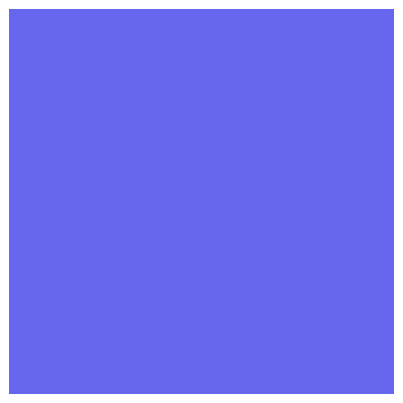[Figure (illustration): Repeating decorative pattern on a blue/periwinkle background featuring sunflowers (yellow-orange with spiky petals and orange center) arranged in a symmetrical floral tile pattern with small green leaves and white dots between the flowers.]